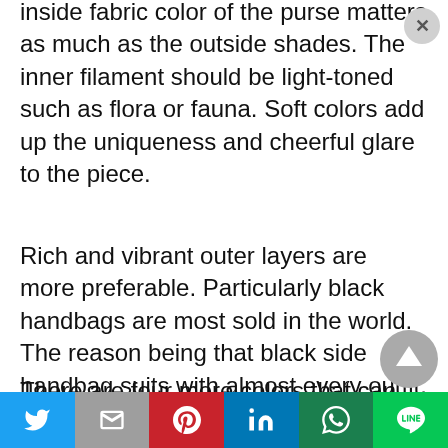inside fabric color of the purse matters as much as the outside shades. The inner filament should be light-toned such as flora or fauna. Soft colors add up the uniqueness and cheerful glare to the piece.
Rich and vibrant outer layers are more preferable. Particularly black handbags are most sold in the world. The reason being that black side handbag suits with almost every outfit.
There are four more colors that can accommodate